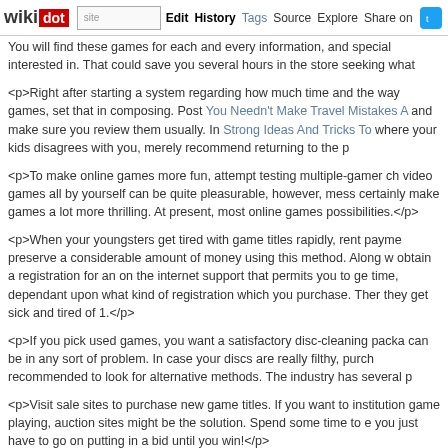wikidot | site | Edit | History | Tags | Source | Explore | Share on [Twitter]
You will find these games for each and every information, and special interested in. That could save you several hours in the store seeking what
<p>Right after starting a system regarding how much time and the way games, set that in composing. Post You Needn't Make Travel Mistakes A and make sure you review them usually. In Strong Ideas And Tricks To where your kids disagrees with you, merely recommend returning to the p
<p>To make online games more fun, attempt testing multiple-gamer ch video games all by yourself can be quite pleasurable, however, mess certainly make games a lot more thrilling. At present, most online games possibilities.</p>
<p>When your youngsters get tired with game titles rapidly, rent payme preserve a considerable amount of money using this method. Along w obtain a registration for an on the internet support that permits you to ge time, dependant upon what kind of registration which you purchase. Ther they get sick and tired of 1.</p>
<p>If you pick used games, you want a satisfactory disc-cleaning packa can be in any sort of problem. In case your discs are really filthy, purch recommended to look for alternative methods. The industry has several p
<p>Visit sale sites to purchase new game titles. If you want to institution game playing, auction sites might be the solution. Spend some time to e you just have to go on putting in a bid until you win!</p>
<p>Review all video gaming that you simply acquire for your kids to make Relevant Video Activity Skilled Using This Advice is also important to children's friends to learn what sort of online games are permissible th